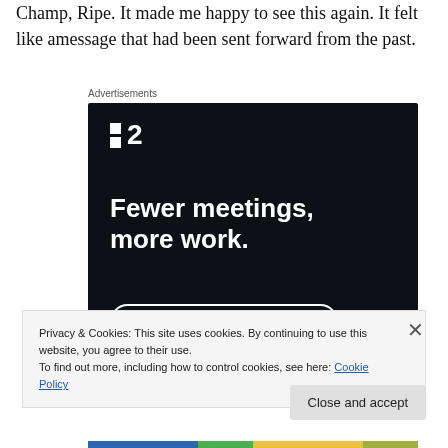Champ, Ripe. It made me happy to see this again. It felt like amessage that had been sent forward from the past.
[Figure (screenshot): Advertisement banner for a productivity app showing logo '■2', headline 'Fewer meetings, more work.' and a 'Get started for free' button on a dark navy background.]
Privacy & Cookies: This site uses cookies. By continuing to use this website, you agree to their use.
To find out more, including how to control cookies, see here: Cookie Policy
Close and accept